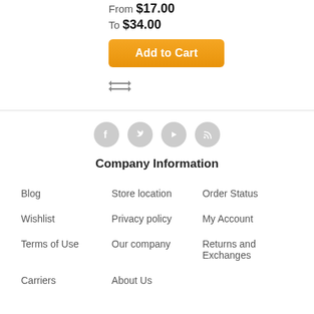From $17.00
To $34.00
Add to Cart
[Figure (other): Compare icon with two horizontal arrows pointing in opposite directions]
[Figure (other): Social media icons row: Facebook, Twitter, YouTube, RSS feed circles in grey]
Company Information
Blog
Store location
Order Status
Wishlist
Privacy policy
My Account
Terms of Use
Our company
Returns and Exchanges
Carriers
About Us